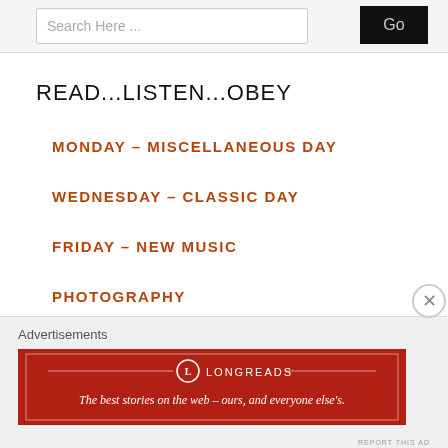Search Here ...
Go
READ...LISTEN...OBEY
MONDAY – MISCELLANEOUS DAY
WEDNESDAY – CLASSIC DAY
FRIDAY – NEW MUSIC
PHOTOGRAPHY
STREAMS
MERCH
Advertisements
[Figure (infographic): Longreads advertisement banner: red background with Longreads logo and tagline 'The best stories on the web — ours, and everyone else's.']